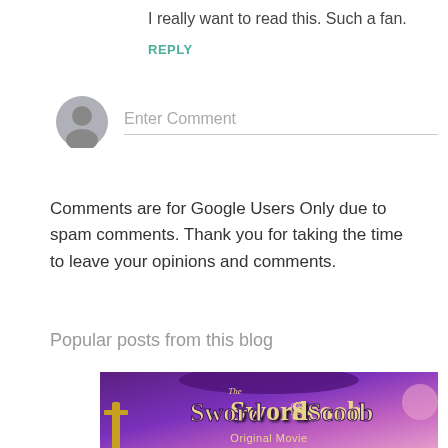I really want to read this. Such a fan.
REPLY
Enter Comment
Comments are for Google Users Only due to spam comments. Thank you for taking the time to leave your opinions and comments.
Popular posts from this blog
[Figure (photo): Movie poster for The Sword and the Scoob Original Movie with colorful fantasy art on purple background]